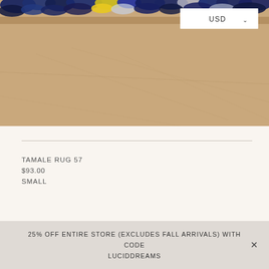[Figure (photo): Close-up photo of a colorful rag rug with blue, yellow, and multi-colored fabric scraps on a tan/beige textured background. The rug's fringe is visible at the top of the frame.]
USD ▾
TAMALE RUG 57
$93.00
SMALL
25% OFF ENTIRE STORE (EXCLUDES FALL ARRIVALS) WITH CODE LUCIDDREAMS